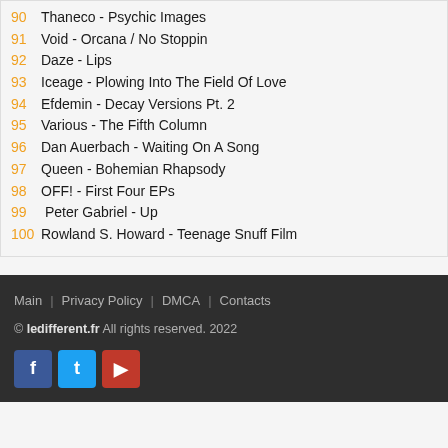90 Thaneco - Psychic Images
91 Void - Orcana / No Stoppin
92 Daze - Lips
93 Iceage - Plowing Into The Field Of Love
94 Efdemin - Decay Versions Pt. 2
95 Various - The Fifth Column
96 Dan Auerbach - Waiting On A Song
97 Queen - Bohemian Rhapsody
98 OFF! - First Four EPs
99 Peter Gabriel - Up
100 Rowland S. Howard - Teenage Snuff Film
Main | Privacy Policy | DMCA | Contacts
© ledifferent.fr All rights reserved. 2022